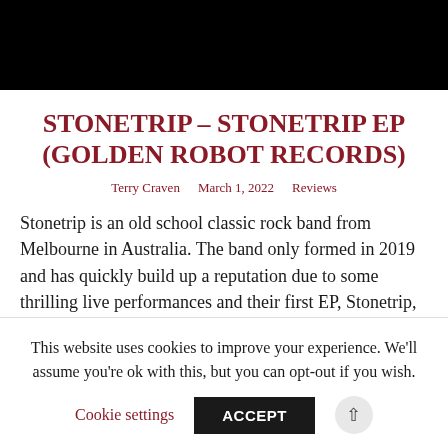[Figure (photo): Black banner image at top of page]
STONETRIP – STONETRIP EP (GOLDEN ROBOT RECORDS)
Terry Craven   March 1, 2022   Reviews
Stonetrip is an old school classic rock band from Melbourne in Australia. The band only formed in 2019 and has quickly build up a reputation due to some thrilling live performances and their first EP, Stonetrip, features five brilliant hard rocking tracks and a decent 20-
This website uses cookies to improve your experience. We'll assume you're ok with this, but you can opt-out if you wish.
Cookie settings   ACCEPT